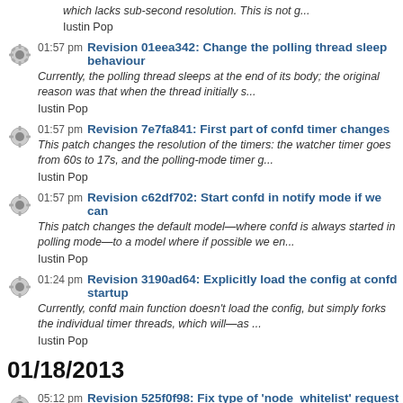which lacks sub-second resolution. This is not g...
Iustin Pop
01:57 pm Revision 01eea342: Change the polling thread sleep behaviour
Currently, the polling thread sleeps at the end of its body; the original reason was that when the thread initially s...
Iustin Pop
01:57 pm Revision 7e7fa841: First part of confd timer changes
This patch changes the resolution of the timers: the watcher timer goes from 60s to 17s, and the polling-mode timer g...
Iustin Pop
01:57 pm Revision c62df702: Start confd in notify mode if we can
This patch changes the default model—where confd is always started in polling mode—to a model where if possible we en...
Iustin Pop
01:24 pm Revision 3190ad64: Explicitly load the config at confd startup
Currently, confd main function doesn't load the config, but simply forks the individual timer threads, which will—as ...
Iustin Pop
01/18/2013
05:12 pm Revision 525f0f98: Fix type of 'node_whitelist' request paramete...
If opportunistic_locking is used, then 'node_whitelist' parameter passed to the allocator is set to the LU's owned no...
Christos Stavrakakis
05:12 pm Revision 347fa0f1: hv_xen: Add test for CPU pinning configuratio...
Add a unittest for a function formatting CPU pinning information for Xen's configuration.
Signed-off-by: Michael Han...